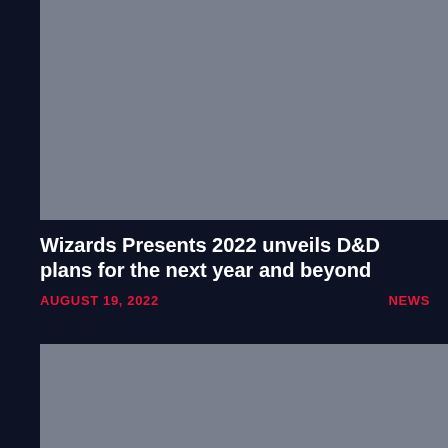[Figure (photo): Gray image placeholder at the top of the article card]
Wizards Presents 2022 unveils D&D plans for the next year and beyond
AUGUST 19, 2022
NEWS
[Figure (photo): Gray image placeholder at the bottom of the article card]